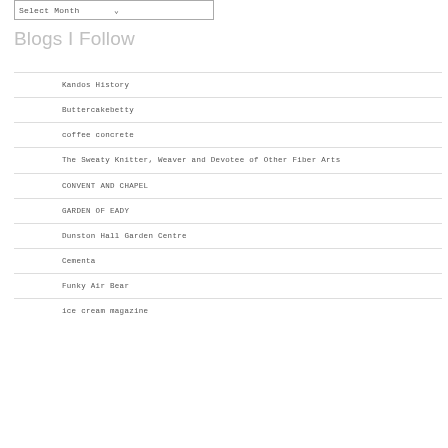Blogs I Follow
Kandos History
Buttercakebetty
coffee concrete
The Sweaty Knitter, Weaver and Devotee of Other Fiber Arts
CONVENT AND CHAPEL
GARDEN OF EADY
Dunston Hall Garden Centre
Cementa
Funky Air Bear
ice cream magazine